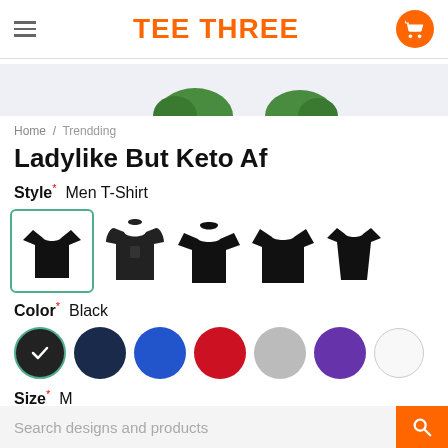TEE THREE
[Figure (illustration): Banner area with partial green graphic elements on light grey background]
Home / Trendding
Ladylike But Keto Af
Style* Men T-Shirt
[Figure (illustration): Five clothing style options: men t-shirt (selected, with teal border), hoodie, crewneck sweatshirt, long sleeve, women t-shirt — all in black]
Color* Black
[Figure (illustration): Seven color swatches: black (selected with checkmark and green border), navy, blue, red, grey, purple, white]
Size* M
Search designs and products